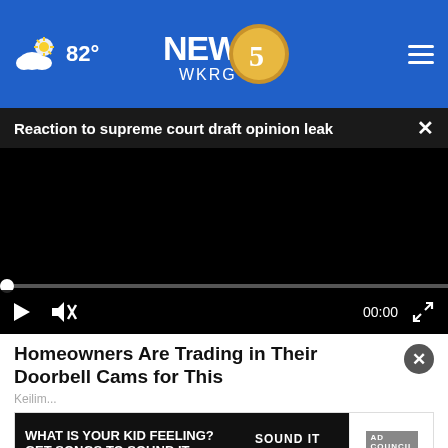NEWS 5 WKRG - 82°
Reaction to supreme court draft opinion leak
[Figure (screenshot): Black video player area with playback controls, progress bar at 00:00]
Homeowners Are Trading in Their Doorbell Cams for This
Keilim...
[Figure (other): Ad banner: WHAT IS YOUR KID FEELING? GET SONGS TO SOUND IT OUT. Sound It Out / Ad Council / Pivotal]